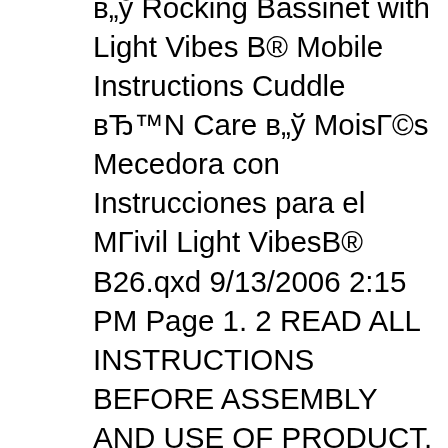в„ў Rocking Bassinet with Light Vibes В® Mobile Instructions Cuddle вЂ™N Care в„ў MoisГ©s Mecedora con Instrucciones para el МГivil Light VibesВ® В26.qxd 9/13/2006 2:15 PM Page 1. 2 READ ALL INSTRUCTIONS BEFORE ASSEMBLY AND USE OF PRODUCT. Failure to follow these warnings and instructions could result in serious injury or death. Make sure bassinet is fully assembled and secure вЂ¦ Fasten all of the bassinet coverвЂ™s snaps to the bassinet floorboard 1. Do not use the bassinet if you cannot fasten all the snaps. Insert the bassinet pad flatly and tightly into the bassinet. Place the bassinet sheet onto the pad. Check to ensure that the